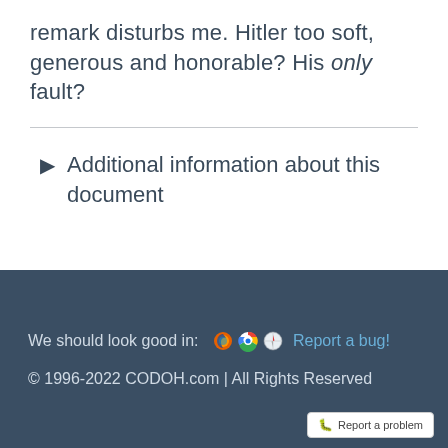remark disturbs me. Hitler too soft, generous and honorable? His only fault?
Additional information about this document
We should look good in: [browser icons] Report a bug!
© 1996-2022 CODOH.com | All Rights Reserved